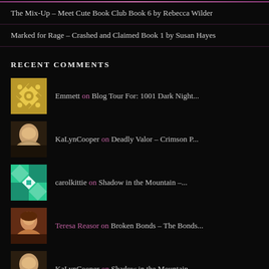The Mix-Up – Meet Cute Book Club Book 6 by Rebecca Wilder
Marked for Rage – Crashed and Claimed Book 1 by Susan Hayes
RECENT COMMENTS
Emmett on Blog Tour For: 1001 Dark Night...
KaLynCooper on Deadly Valor – Crimson P...
carolkittie on Shadow in the Mountain –...
Teresa Reasor on Broken Bonds – The Bonds...
KaLynCooper on Shadow in the Mountain –...